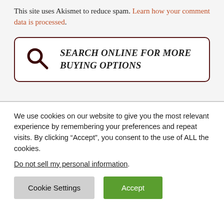This site uses Akismet to reduce spam. Learn how your comment data is processed.
[Figure (other): Search online for more buying options button with magnifying glass icon inside a rounded rectangle border]
We use cookies on our website to give you the most relevant experience by remembering your preferences and repeat visits. By clicking “Accept”, you consent to the use of ALL the cookies.
Do not sell my personal information.
Cookie Settings | Accept